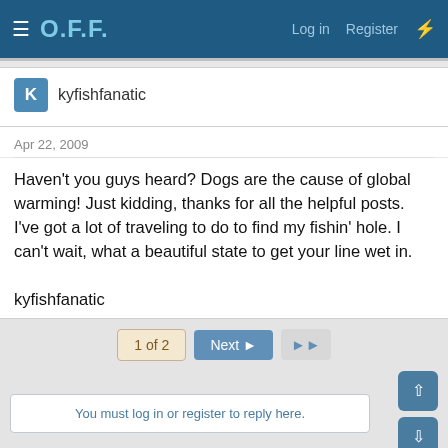O.F.F. Log in Register
kyfishfanatic
Apr 22, 2009
Haven't you guys heard? Dogs are the cause of global warming! Just kidding, thanks for all the helpful posts. I've got a lot of traveling to do to find my fishin' hole. I can't wait, what a beautiful state to get your line wet in.

kyfishfanatic
1 of 2  Next  ▶▶
You must log in or register to reply here.
Similar threads